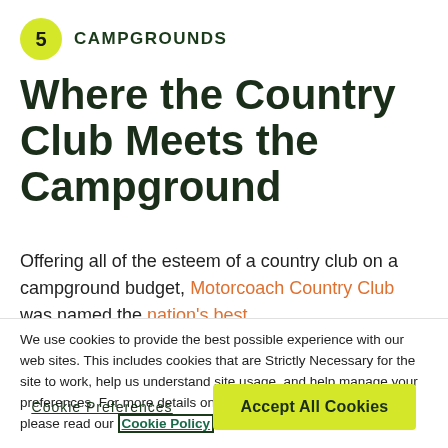5 CAMPGROUNDS
Where the Country Club Meets the Campground
Offering all of the esteem of a country club on a campground budget, Motorcoach Country Club was named the nation's best
We use cookies to provide the best possible experience with our web sites. This includes cookies that are Strictly Necessary for the site to work, help us understand site usage, and help manage your preferences. For more details on how we use your information please read our Cookie Policy.
Cookie Preferences | Accept All Cookies